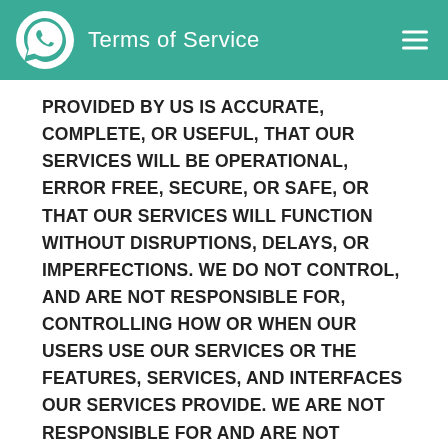Terms of Service
PROVIDED BY US IS ACCURATE, COMPLETE, OR USEFUL, THAT OUR SERVICES WILL BE OPERATIONAL, ERROR FREE, SECURE, OR SAFE, OR THAT OUR SERVICES WILL FUNCTION WITHOUT DISRUPTIONS, DELAYS, OR IMPERFECTIONS. WE DO NOT CONTROL, AND ARE NOT RESPONSIBLE FOR, CONTROLLING HOW OR WHEN OUR USERS USE OUR SERVICES OR THE FEATURES, SERVICES, AND INTERFACES OUR SERVICES PROVIDE. WE ARE NOT RESPONSIBLE FOR AND ARE NOT OBLIGATED TO CONTROL THE ACTIONS OR INFORMATION (INCLUDING CONTENT) OF OUR USERS OR OTHER THIRD-PARTIES. YOU RELEASE US, OUR SUBSIDIARIES, AFFILIATES, AND OUR AND THEIR